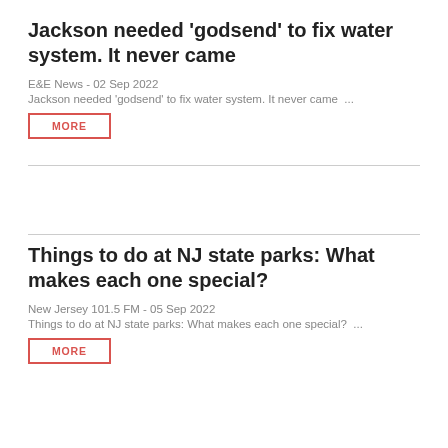Jackson needed 'godsend' to fix water system. It never came
E&E News - 02 Sep 2022
Jackson needed 'godsend' to fix water system. It never came ...
MORE
Things to do at NJ state parks: What makes each one special?
New Jersey 101.5 FM - 05 Sep 2022
Things to do at NJ state parks: What makes each one special? ...
MORE